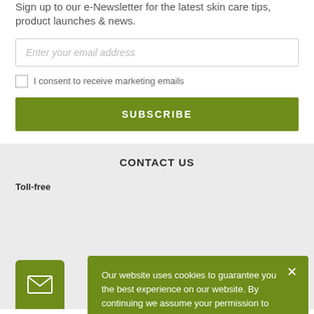Sign up to our e-Newsletter for the latest skin care tips, product launches & news.
Enter your email address
I consent to receive marketing emails
SUBSCRIBE
CONTACT US
Toll-free
[Figure (illustration): Email icon in a green rounded square box]
Our website uses cookies to guarantee you the best experience on our website. By continuing we assume your permission to deploy cookies as detailed in our privacy policy.
I accept